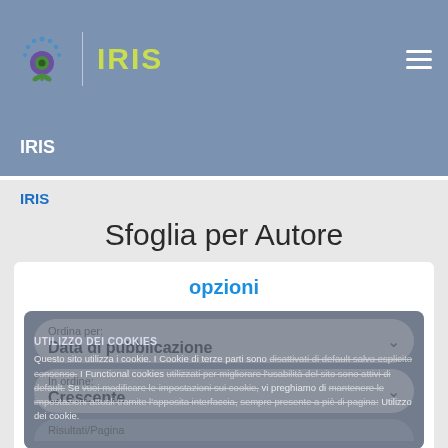[Figure (logo): IRIS logo with stylized eye icon and green text]
IRIS
IRIS
Sfoglia per Autore
opzioni
Ordina per:
Data di pubblicazione
In ordine:
Crescente
UTILIZZO DEI COOKIES
Questo sito utilizza i cookie. I Cookie di terze parti sono disattivati di default salvo esplicito consenso. I Functional cookies utilizzati per migliorare l'usabilità del sito sono attivi di default. Se vuoi modificare le impostazioni sui cookie, vi preghiamo di mantenere le impostazioni attuali tramite l'apposita interfaccia, sempre presente a piè di pagina: Utilizzo dei cookie.
Risultati/Pagina